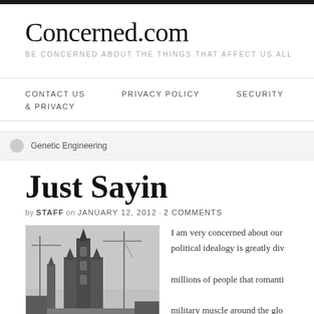Concerned.com
BE CONCERNED ABOUT THE THINGS THAT AFFECT US ALL
CONTACT US   PRIVACY POLICY   SECURITY & PRIVACY
Genetic Engineering
Just Sayin
by STAFF on JANUARY 12, 2012 · 2 COMMENTS
[Figure (photo): Black and white photo of a tall Gothic cathedral or church tower with construction cranes against a grey sky]
I am very concerned about our political idealogy is greatly div millions of people that romanti military muscle around the glo